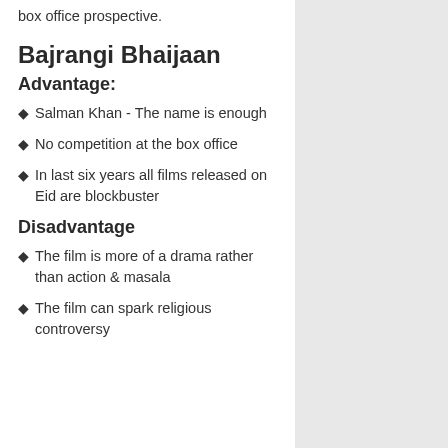We will analyse both films keeping in mind the box office prospective.
Bajrangi Bhaijaan
Advantage:
Salman Khan - The name is enough
No competition at the box office
In last six years all films released on Eid are blockbuster
Disadvantage
The film is more of a drama rather than action & masala
The film can spark religious controversy